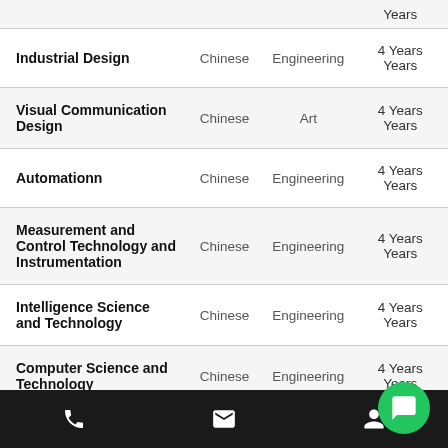| Program | Language | Category | Duration |
| --- | --- | --- | --- |
| Industrial Design | Chinese | Engineering | 4 Years
Years |
| Visual Communication Design | Chinese | Art | 4 Years
Years |
| Automationn | Chinese | Engineering | 4 Years
Years |
| Measurement and Control Technology and Instrumentation | Chinese | Engineering | 4 Years
Years |
| Intelligence Science and Technology | Chinese | Engineering | 4 Years
Years |
| Computer Science and Technology | Chinese | Engineering | 4 Years
Years |
| Communication Engineering | Chinese | Engineering | 4 Years
Years |